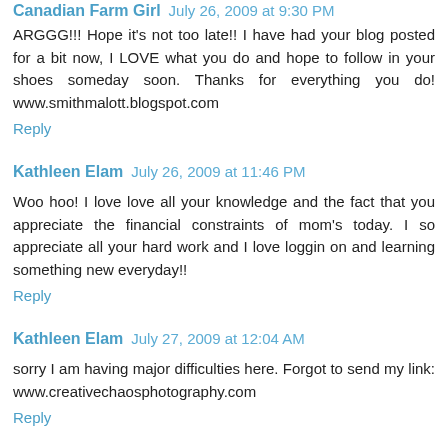Canadian Farm Girl  July 26, 2009 at 9:30 PM
ARGGG!!! Hope it's not too late!! I have had your blog posted for a bit now, I LOVE what you do and hope to follow in your shoes someday soon. Thanks for everything you do! www.smithmalott.blogspot.com
Reply
Kathleen Elam  July 26, 2009 at 11:46 PM
Woo hoo! I love love all your knowledge and the fact that you appreciate the financial constraints of mom's today. I so appreciate all your hard work and I love loggin on and learning something new everyday!!
Reply
Kathleen Elam  July 27, 2009 at 12:04 AM
sorry I am having major difficulties here. Forgot to send my link: www.creativechaosphotography.com
Reply